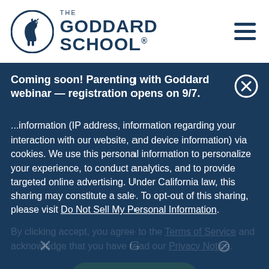[Figure (logo): The Goddard School logo with horse head in circle and text 'THE GODDARD SCHOOL']
Coming soon! Parenting with Goddard webinar — registration opens on 9/7.
...information (IP address, information regarding your interaction with our website, and device information) via cookies. We use this personal information to personalize your experience, to conduct analytics, and to provide targeted online advertising. Under California law, this sharing may constitute a sale. To opt-out of this sharing, please visit Do Not Sell My Personal Information.
By clicking accept, you agree to the Terms of Service and acknowledge that you have read our Privacy Notice.